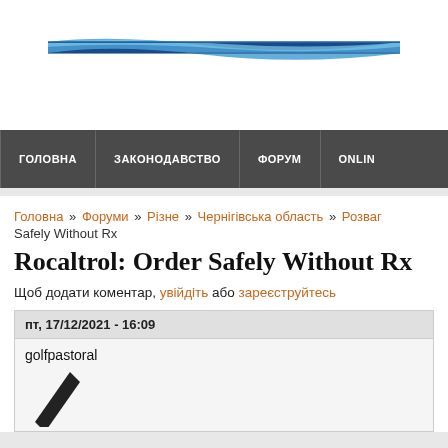[Figure (illustration): Website header with blue and dark blue swoosh/wave graphic banner on white background]
ГОЛОВНА | ЗАКОНОДАВСТВО | ФОРУМ | ONLINE
Головна » Форуми » Різне » Чернігівська область » Розваг... Safely Without Rx
Rocaltrol: Order Safely Without Rx
Щоб додати коментар, увійдіть або зареєструйтесь
пт, 17/12/2021 - 16:09
golfpastoral